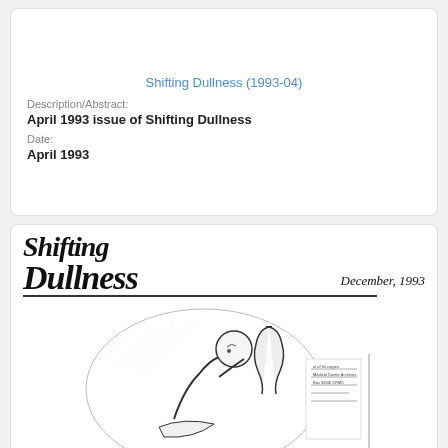Shifting Dullness (1993-04)
Description/Abstract:
April 1993 issue of Shifting Dullness
Date:
April 1993
[Figure (illustration): Cover of the Shifting Dullness newsletter, December 1993 issue. Shows the newsletter title in large serif italic font with 'December, 1993' on the right. Below is a horizontal rule and an engraving-style illustration of a person examining something with a flask or vase nearby. There is a small address label visible on the right side.]